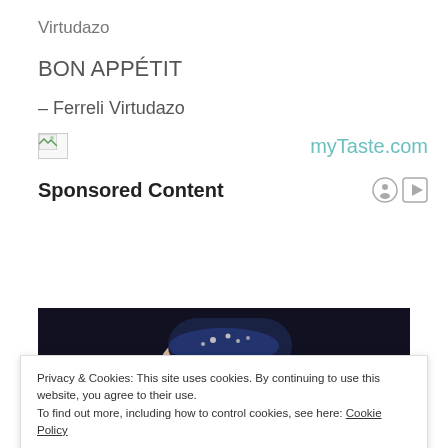Virtudazo
BON APPÉTIT
– Ferreli Virtudazo
[Figure (other): Broken image icon on left, myTaste.com logo text on right]
Sponsored Content
[Figure (photo): Person wearing a dark bandana/headscarf with beaded decoration, photographed against a dark background]
Privacy & Cookies: This site uses cookies. By continuing to use this website, you agree to their use.
To find out more, including how to control cookies, see here: Cookie Policy
Close and accept